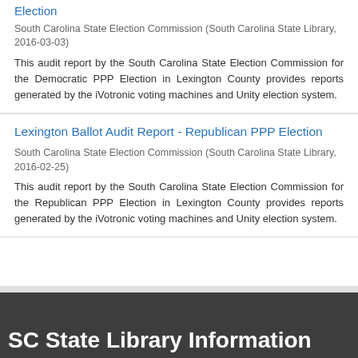Election
South Carolina State Election Commission (South Carolina State Library, 2016-03-03)
This audit report by the South Carolina State Election Commission for the Democratic PPP Election in Lexington County provides reports generated by the iVotronic voting machines and Unity election system.
Lexington Ballot Audit Report - Republican PPP Election
South Carolina State Election Commission (South Carolina State Library, 2016-02-25)
This audit report by the South Carolina State Election Commission for the Republican PPP Election in Lexington County provides reports generated by the iVotronic voting machines and Unity election system.
SC State Library Information